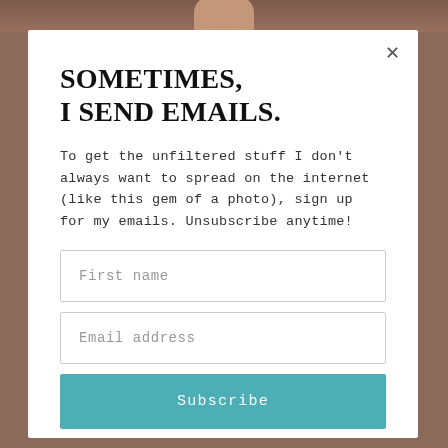[Figure (photo): Top portion of background image showing a person, partially cropped at the top of the page behind a modal dialog]
SOMETIMES, I SEND EMAILS.
To get the unfiltered stuff I don't always want to spread on the internet (like this gem of a photo), sign up for my emails. Unsubscribe anytime!
First name
Email address
Subscribe